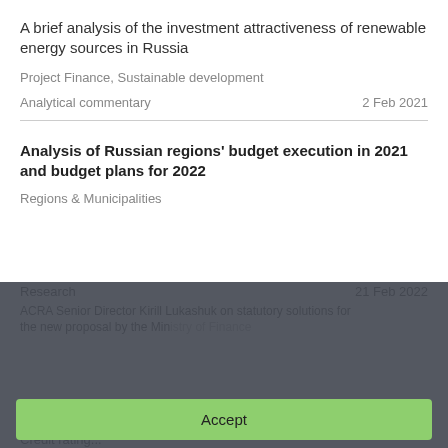A brief analysis of the investment attractiveness of renewable energy sources in Russia
Project Finance, Sustainable development
Analytical commentary   2 Feb 2021
Analysis of Russian regions' budget execution in 2021 and budget plans for 2022
Regions & Municipalities
Research   21 Feb 2022
We protect the personal data of users and process cookies only to personalize services. You can prevent the processing of cookies in your browser settings. Please read the terms of use of cookies on this website by clicking on more information.
ACRA Senior Director Kirill Lukashuk on statutory solutions for the new proposal by the Ministry of Finance
Accept